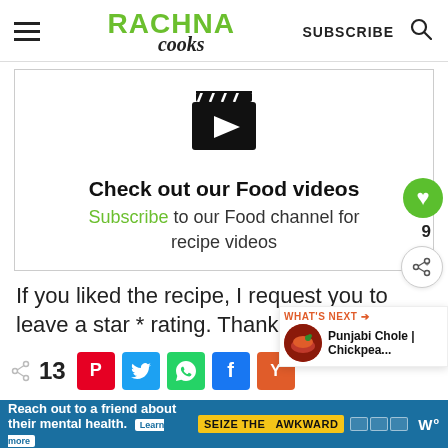RACHNA COOKS — SUBSCRIBE
[Figure (screenshot): Video thumbnail/play button icon with clapperboard]
Check out our Food videos
Subscribe to our Food channel for recipe videos
If you liked the recipe, I request you to leave a star * rating. Thanks.
13 (share count with social share buttons: Pinterest, Twitter, WhatsApp, Facebook, Yummly)
[Figure (infographic): Ad banner: Reach out to a friend about their mental health. Learn more. SEIZE THE AWKWARD.]